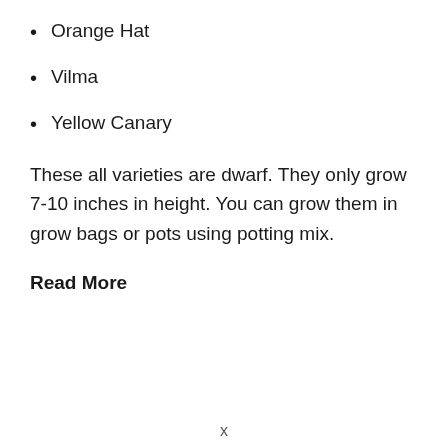Orange Hat
Vilma
Yellow Canary
These all varieties are dwarf. They only grow 7-10 inches in height. You can grow them in grow bags or pots using potting mix.
Read More